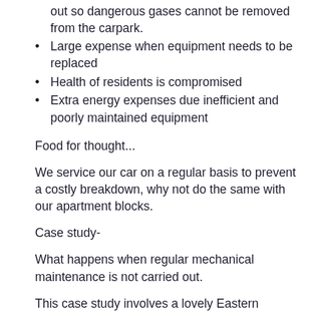out so dangerous gases cannot be removed from the carpark.
Large expense when equipment needs to be replaced
Health of residents is compromised
Extra energy expenses due inefficient and poorly maintained equipment
Food for thought...
We service our car on a regular basis to prevent a costly breakdown, why not do the same with our apartment blocks.
Case study-
What happens when regular mechanical maintenance is not carried out.
This case study involves a lovely Eastern suburbs apartment block in Potts Point, Sydney. The residents of the building were becoming